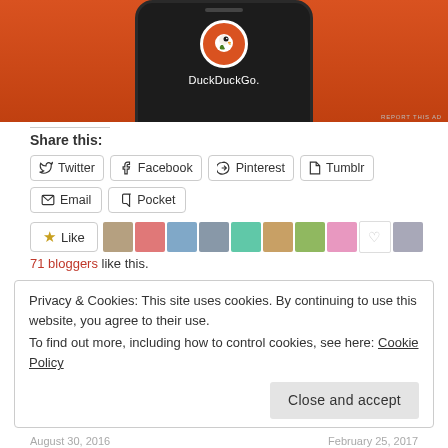[Figure (photo): DuckDuckGo advertisement banner showing a phone with DuckDuckGo logo on orange background]
REPORT THIS AD
Share this:
Twitter  Facebook  Pinterest  Tumblr  Email  Pocket
Like
71 bloggers like this.
Privacy & Cookies: This site uses cookies. By continuing to use this website, you agree to their use.
To find out more, including how to control cookies, see here: Cookie Policy
Close and accept
August 30, 2016   February 25, 2017